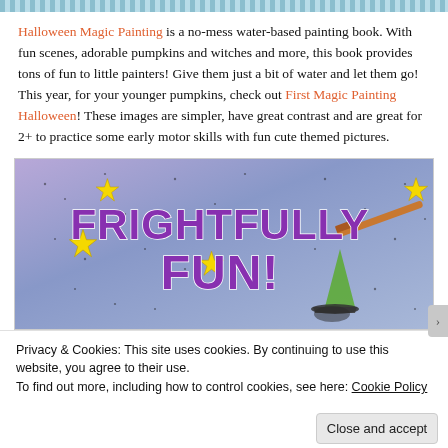[Figure (illustration): Decorative header stripe with a woven/zigzag pattern in blue and teal tones]
Halloween Magic Painting is a no-mess water-based painting book. With fun scenes, adorable pumpkins and witches and more, this book provides tons of fun to little painters! Give them just a bit of water and let them go! This year, for your younger pumpkins, check out First Magic Painting Halloween! These images are simpler, have great contrast and are great for 2+ to practice some early motor skills with fun cute themed pictures.
[Figure (illustration): Banner image with purple/blue starry background, yellow stars, a witch hat with a paintbrush, and bold purple text reading FRIGHTFULLY FUN!]
Privacy & Cookies: This site uses cookies. By continuing to use this website, you agree to their use.
To find out more, including how to control cookies, see here: Cookie Policy
Close and accept